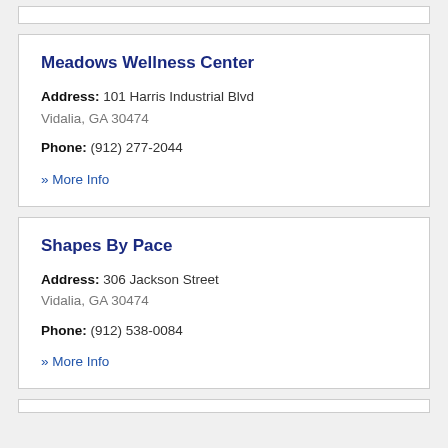Meadows Wellness Center
Address: 101 Harris Industrial Blvd
Vidalia, GA 30474
Phone: (912) 277-2044
» More Info
Shapes By Pace
Address: 306 Jackson Street
Vidalia, GA 30474
Phone: (912) 538-0084
» More Info